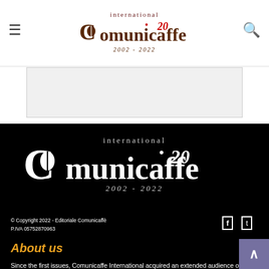[Figure (logo): International Comunicaffe 20th anniversary logo (2002-2022) in header navigation bar]
[Figure (logo): International Comunicaffe 20th anniversary logo (2002-2022) large white version on black background in footer]
© Copyright 2022 - Editoriale Comunicaffè
P.IVA 05752870963
About us
Since the first issues, Comunicaffe International acquired an extended audience of operators of the sector. We provide fresh and accurate news concerning the industry of coffee, cocoa and...